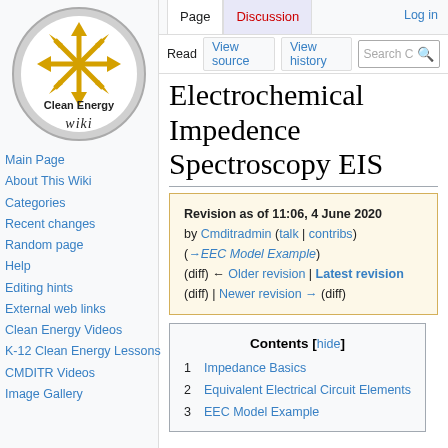[Figure (logo): Clean Energy Wiki logo: circular badge with golden snowflake/starburst design, text 'Clean Energy' and 'Wiki' below]
Log in
Page | Discussion | Read | View source | View history | Search
Electrochemical Impedence Spectroscopy EIS
Revision as of 11:06, 4 June 2020 by Cmditradmin (talk | contribs) (→EEC Model Example) (diff) ← Older revision | Latest revision (diff) | Newer revision → (diff)
Contents [hide]
1 Impedance Basics
2 Equivalent Electrical Circuit Elements
3 EEC Model Example